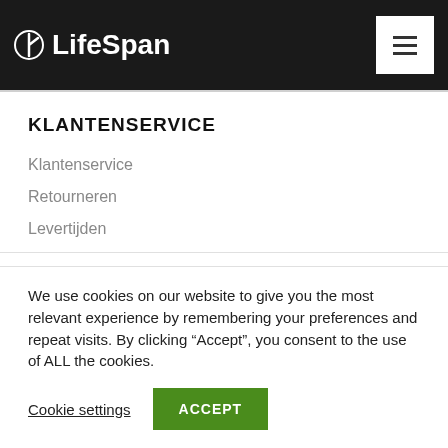LifeSpan
KLANTENSERVICE
Klantenservice
Retourneren
Levertijden
We use cookies on our website to give you the most relevant experience by remembering your preferences and repeat visits. By clicking “Accept”, you consent to the use of ALL the cookies.
Cookie settings   ACCEPT